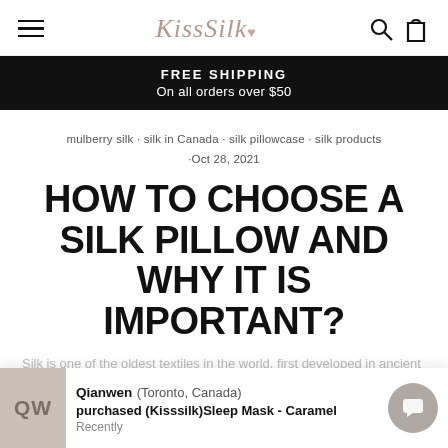KissSilk navigation bar with hamburger menu, logo, and search/cart icons
FREE SHIPPING
On all orders over $50
mulberry silk · silk in Canada · silk pillowcase · silk products ·Oct 28, 2021
HOW TO CHOOSE A SILK PILLOW AND WHY IT IS IMPORTANT?
Qianwen (Toronto, Canada) purchased (Kisssilk)Sleep Mask - Caramel Recently